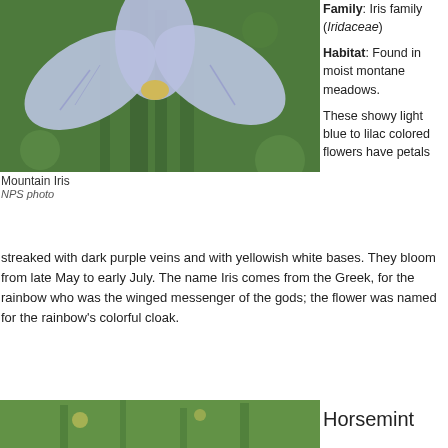[Figure (photo): Close-up photograph of a Mountain Iris flower with light blue to lilac petals against a green background]
Family: Iris family (Iridaceae)

Habitat: Found in moist montane meadows.

These showy light blue to lilac colored flowers have petals
Mountain Iris
NPS photo
streaked with dark purple veins and with yellowish white bases. They bloom from late May to early July. The name Iris comes from the Greek, for the rainbow who was the winged messenger of the gods; the flower was named for the rainbow's colorful cloak.
[Figure (photo): Photograph of Horsemint plant in a grassy field]
Horsemint